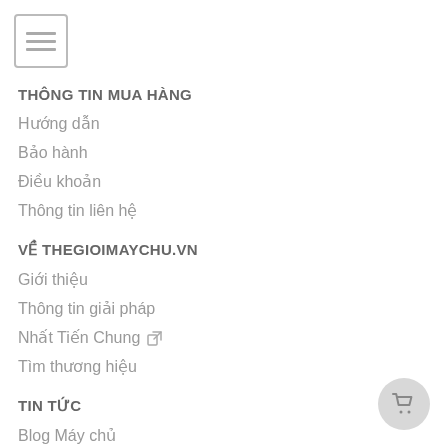[Figure (other): Hamburger menu icon button with three horizontal lines inside a rounded rectangle border]
THÔNG TIN MUA HÀNG
Hướng dẫn
Bảo hành
Điều khoản
Thông tin liên hệ
VỀ THEGIOIMAYCHU.VN
Giới thiệu
Thông tin giải pháp
Nhất Tiến Chung 🔗
Tìm thương hiệu
TIN TỨC
Blog Máy chủ
Tin hoạt động